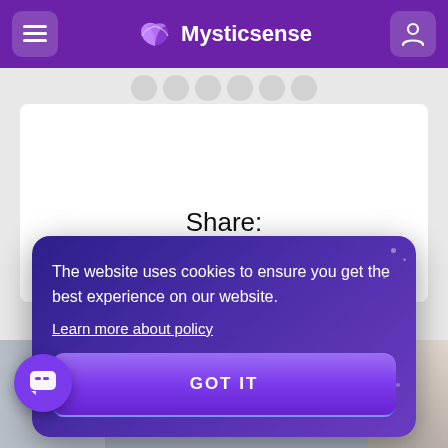Mysticsense
Share:
The website uses cookies to ensure you get the best experience on our website. Learn more about policy
GOT IT
[Figure (screenshot): Bottom section showing partial photos of people]